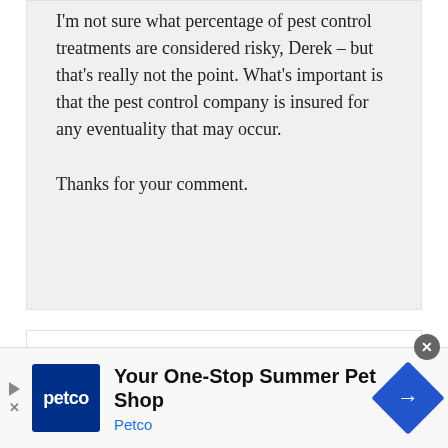I'm not sure what percentage of pest control treatments are considered risky, Derek – but that's really not the point. What's important is that the pest control company is insured for any eventuality that may occur.

Thanks for your comment.
Joel Miller says
[Figure (illustration): Avatar illustration of a blue ant-like character on a yellow background]
23
[Figure (other): Petco advertisement: Your One-Stop Summer Pet Shop with Petco logo and blue diamond arrow icon]